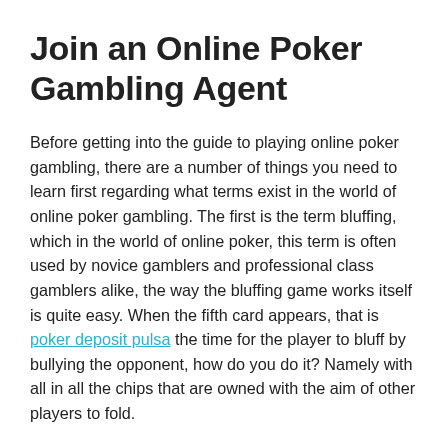Join an Online Poker Gambling Agent
Before getting into the guide to playing online poker gambling, there are a number of things you need to learn first regarding what terms exist in the world of online poker gambling. The first is the term bluffing, which in the world of online poker, this term is often used by novice gamblers and professional class gamblers alike, the way the bluffing game works itself is quite easy. When the fifth card appears, that is poker deposit pulsa the time for the player to bluff by bullying the opponent, how do you do it? Namely with all in all the chips that are owned with the aim of other players to fold.
However, this kind of method is quite risky for the